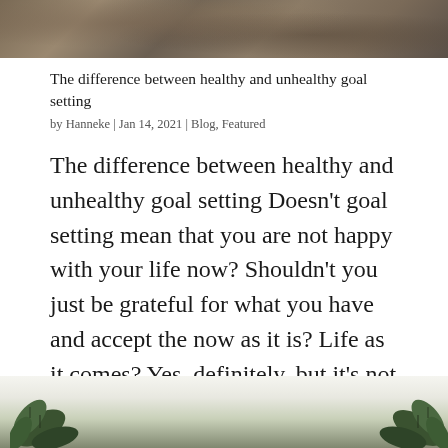[Figure (photo): Top photo of a textured natural surface, mossy or earthy ground, muted brown and gray tones]
The difference between healthy and unhealthy goal setting
by Hanneke | Jan 14, 2021 | Blog, Featured
The difference between healthy and unhealthy goal setting Doesn’t goal setting mean that you are not happy with your life now? Shouldn’t you just be grateful for what you have and accept the now as it is? Life as it comes? Yes, definitely, but it’s not one or...
[Figure (photo): Bottom photo showing green leaves/plant foliage against a light background, partial view cropped]